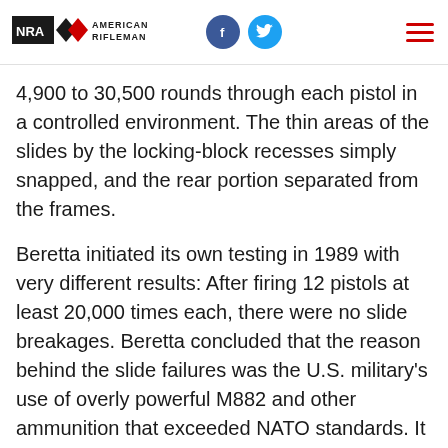NRA American Rifleman
4,900 to 30,500 rounds through each pistol in a controlled environment. The thin areas of the slides by the locking-block recesses simply snapped, and the rear portion separated from the frames.
Beretta initiated its own testing in 1989 with very different results: After firing 12 pistols at least 20,000 times each, there were no slide breakages. Beretta concluded that the reason behind the slide failures was the U.S. military's use of overly powerful M882 and other ammunition that exceeded NATO standards. It was not a metallurgical weakness, Beretta concluded, but dangerously over-pressure ammunition that was causing the breakages.